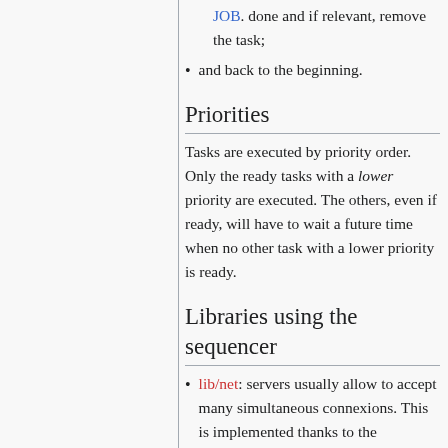JOB. done and if relevant, remove the task;
and back to the beginning.
Priorities
Tasks are executed by priority order. Only the ready tasks with a lower priority are executed. The others, even if ready, will have to wait a future time when no other task with a lower priority is ready.
Libraries using the sequencer
lib/net: servers usually allow to accept many simultaneous connexions. This is implemented thanks to the sequencer.
lib/vision: the event manager loop is implemented with a sequencer.